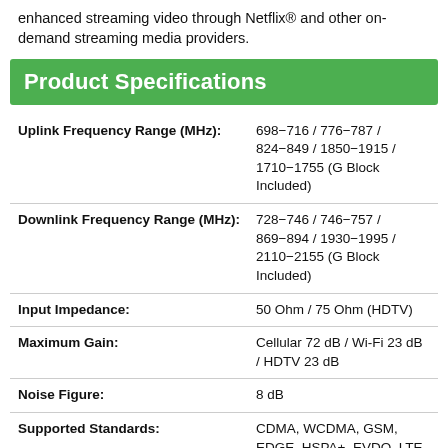enhanced streaming video through Netflix® and other on-demand streaming media providers.
Product Specifications
| Specification | Value |
| --- | --- |
| Uplink Frequency Range (MHz): | 698−716 / 776−787 / 824−849 / 1850−1915 / 1710−1755 (G Block Included) |
| Downlink Frequency Range (MHz): | 728−746 / 746−757 / 869−894 / 1930−1995 / 2110−2155 (G Block Included) |
| Input Impedance: | 50 Ohm / 75 Ohm (HDTV) |
| Maximum Gain: | Cellular 72 dB / Wi-Fi 23 dB / HDTV 23 dB |
| Noise Figure: | 8 dB |
| Supported Standards: | CDMA, WCDMA, GSM, EDGE, HSPA+, EVDO, LTE and all cellular standards |
| VSWR: | ≤2.0 |
| Wi-Fi Range: |  |